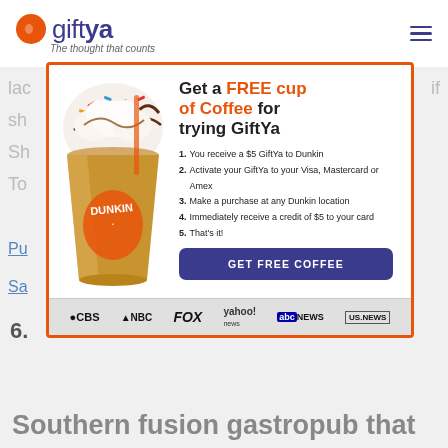giftya - The thought that counts
[Figure (infographic): GiftYa promotional modal advertisement featuring a Dunkin' iced coffee cup with whipped cream and sprinkles. Headline: Get a FREE cup of Coffee for trying GiftYa. Five numbered steps listed. Button: GET FREE COFFEE. Media logos: CBS, NBC, FOX, yahoo! news, abc NEWS, US NEWS.]
Southern fusion gastropub that